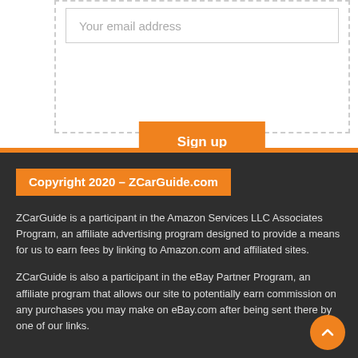Your email address
Sign up
Copyright 2020 – ZCarGuide.com
ZCarGuide is a participant in the Amazon Services LLC Associates Program, an affiliate advertising program designed to provide a means for us to earn fees by linking to Amazon.com and affiliated sites.
ZCarGuide is also a participant in the eBay Partner Program, an affiliate program that allows our site to potentially earn commission on any purchases you may make on eBay.com after being sent there by one of our links.